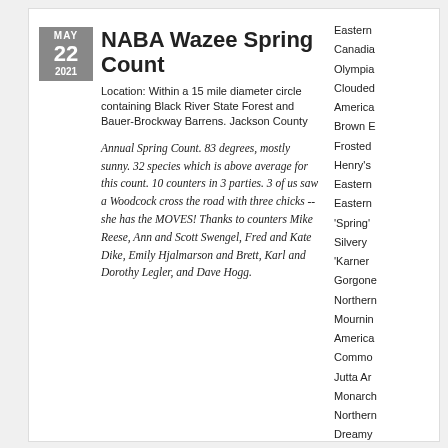NABA Wazee Spring Count
Location: Within a 15 mile diameter circle containing Black River State Forest and Bauer-Brockway Barrens. Jackson County
Annual Spring Count. 83 degrees, mostly sunny. 32 species which is above average for this count. 10 counters in 3 parties. 3 of us saw a Woodcock cross the road with three chicks -- she has the MOVES! Thanks to counters Mike Reese, Ann and Scott Swengel, Fred and Kate Dike, Emily Hjalmarson and Brett, Karl and Dorothy Legler, and Dave Hogg.
Eastern
Canadia
Olympia
Clouded
America
Brown E
Frosted
Henry's
Eastern
Eastern
'Spring'
Silvery
'Karner
Gorgone
Northern
Mournin
America
Commo
Jutta Ar
Monarch
Northern
Dreamy
Sleepy D